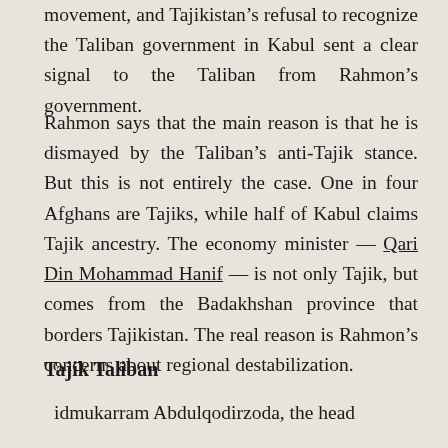movement, and Tajikistan's refusal to recognize the Taliban government in Kabul sent a clear signal to the Taliban from Rahmon's government.
Rahmon says that the main reason is that he is dismayed by the Taliban's anti-Tajik stance. But this is not entirely the case. One in four Afghans are Tajiks, while half of Kabul claims Tajik ancestry. The economy minister — Qari Din Mohammad Hanif — is not only Tajik, but comes from the Badakhshan province that borders Tajikistan. The real reason is Rahmon's concerns about regional destabilization.
Tajik Taliban
idmukarram Abdulqodirzoda, the head